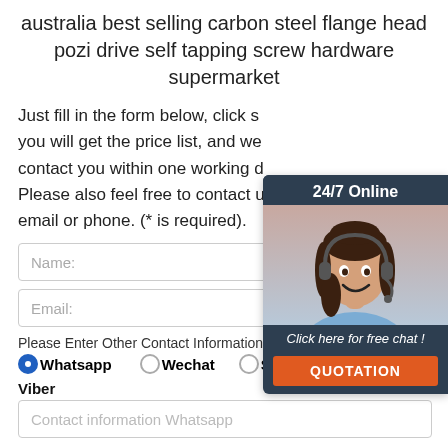australia best selling carbon steel flange head pozi drive self tapping screw hardware supermarket
Just fill in the form below, click s you will get the price list, and we contact you within one working d Please also feel free to contact u email or phone. (* is required).
[Figure (infographic): Customer service chat widget showing 24/7 Online label, a photo of a woman with headset, 'Click here for free chat!' text, and an orange QUOTATION button]
Name:
Email:
Please Enter Other Contact Information
Whatsapp  Wechat  Skype
Viber
Contact information Whatsapp